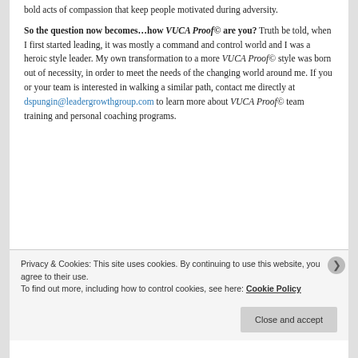bold acts of compassion that keep people motivated during adversity.
So the question now becomes…how VUCA Proof© are you? Truth be told, when I first started leading, it was mostly a command and control world and I was a heroic style leader. My own transformation to a more VUCA Proof© style was born out of necessity, in order to meet the needs of the changing world around me. If you or your team is interested in walking a similar path, contact me directly at dspungin@leadergrowthgroup.com to learn more about VUCA Proof© team training and personal coaching programs.
Privacy & Cookies: This site uses cookies. By continuing to use this website, you agree to their use.
To find out more, including how to control cookies, see here: Cookie Policy